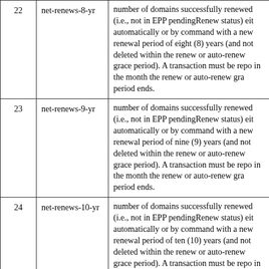|  |  |  |
| --- | --- | --- |
| 22 | net-renews-8-yr | number of domains successfully renewed (i.e., not in EPP pendingRenew status) either automatically or by command with a new renewal period of eight (8) years (and not deleted within the renew or auto-renew grace period). A transaction must be reported in the month the renew or auto-renew grace period ends. |
| 23 | net-renews-9-yr | number of domains successfully renewed (i.e., not in EPP pendingRenew status) either automatically or by command with a new renewal period of nine (9) years (and not deleted within the renew or auto-renew grace period). A transaction must be reported in the month the renew or auto-renew grace period ends. |
| 24 | net-renews-10-yr | number of domains successfully renewed (i.e., not in EPP pendingRenew status) either automatically or by command with a new renewal period of ten (10) years (and not deleted within the renew or auto-renew grace period). A transaction must be reported in the month the renew or auto-renew grace period ends. |